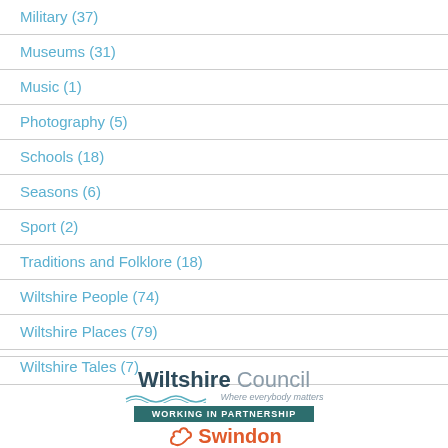Military (37)
Museums (31)
Music (1)
Photography (5)
Schools (18)
Seasons (6)
Sport (2)
Traditions and Folklore (18)
Wiltshire People (74)
Wiltshire Places (79)
Wiltshire Tales (7)
[Figure (logo): Wiltshire Council logo with tagline 'Where everybody matters', 'WORKING IN PARTNERSHIP' bar, and Swindon logo partially visible]